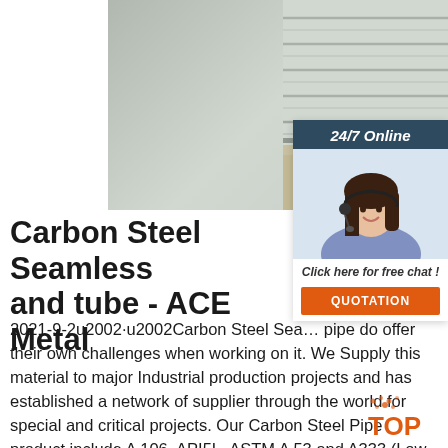[Figure (photo): Photo of carbon steel seamless pipe/tubes stacked horizontally, showing ribbed metallic surfaces]
[Figure (photo): Chat widget showing a woman with headset smiling, with '24/7 Online' header, 'Click here for free chat!' link, and orange QUOTATION button]
Carbon Steel Seamless and tube - ACE Metal
2021-9-2u2002·u2002Carbon Steel Seamless pipe do offer their own challenges when working on it. We Supply this material to major Industrial production projects and has established a network of supplier through the world for special and critical projects. Our Carbon Steel Pipe product include A 106, API5L, ASTM A 53 and A333 (Low